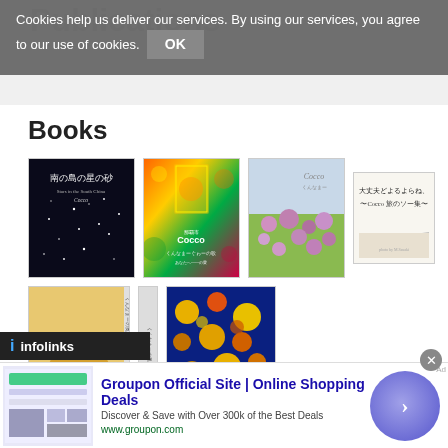Cookies help us deliver our services. By using our services, you agree to our use of cookies. OK
Publications
Books
[Figure (photo): Grid of Japanese book covers by Cocco including dark starry cover, colorful mosaic cover, flower field cover, white cover with Japanese text, and two more covers in a second row]
[Figure (infographic): Infolinks advertisement bar at bottom left]
[Figure (screenshot): Groupon Official Site advertisement banner with logo and circle arrow button. Text: Groupon Official Site | Online Shopping Deals. Discover & Save with Over 300k of the Best Deals. www.groupon.com]